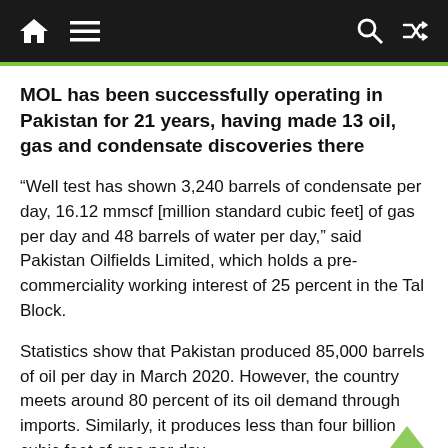MOL news navigation bar
MOL has been successfully operating in Pakistan for 21 years, having made 13 oil, gas and condensate discoveries there
“Well test has shown 3,240 barrels of condensate per day, 16.12 mmscf [million standard cubic feet] of gas per day and 48 barrels of water per day,” said Pakistan Oilfields Limited, which holds a pre-commerciality working interest of 25 percent in the Tal Block.
Statistics show that Pakistan produced 85,000 barrels of oil per day in March 2020. However, the country meets around 80 percent of its oil demand through imports. Similarly, it produces less than four billion cubic feet of gas per day